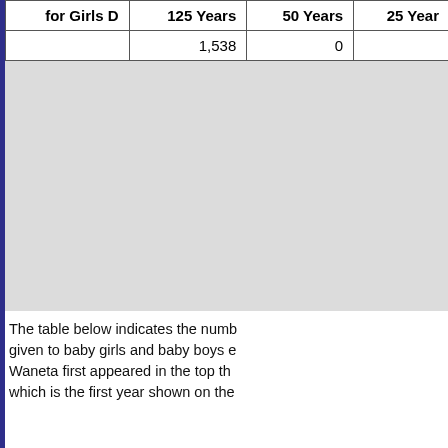| for Girls D | 125 Years | 50 Years | 25 Years |
| --- | --- | --- | --- |
|  | 1,538 | 0 |  |
[Figure (other): Gray placeholder chart area, content not visible]
The table below indicates the number of times the name was given to baby girls and baby boys each year. Waneta first appeared in the top thousand which is the first year shown on the...